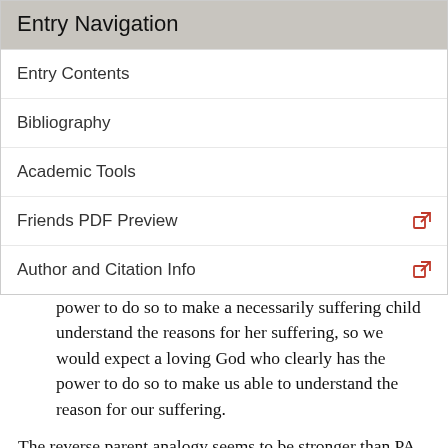Entry Navigation
Entry Contents
Bibliography
Academic Tools
Friends PDF Preview
Author and Citation Info
power to do so to make a necessarily suffering child understand the reasons for her suffering, so we would expect a loving God who clearly has the power to do so to make us able to understand the reason for our suffering.
The reverse parent analogy seems to be stronger than PA because it appeals to a more robust picture of God's attributes, and it supports the negation of Obscurity. We can call that thesis Transparency.
Transparency: